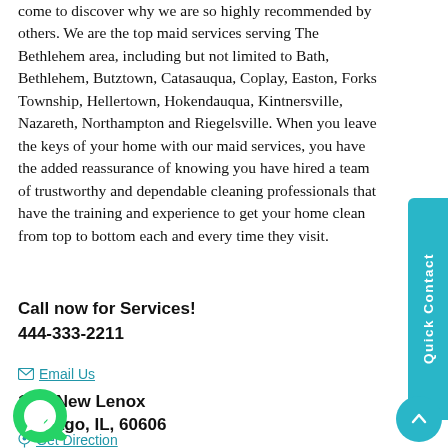come to discover why we are so highly recommended by others. We are the top maid services serving The Bethlehem area, including but not limited to Bath, Bethlehem, Butztown, Catasauqua, Coplay, Easton, Forks Township, Hellertown, Hokendauqua, Kintnersville, Nazareth, Northampton and Riegelsville. When you leave the keys of your home with our maid services, you have the added reassurance of knowing you have hired a team of trustworthy and dependable cleaning professionals that have the training and experience to get your home clean from top to bottom each and every time they visit.
Call now for Services! 444-333-2211
Email Us
123, New Lenox Chicago, IL, 60606
Get Direction
[Figure (other): Blue vertical Quick Contact sidebar button on the right side]
[Figure (other): Green WhatsApp circular button with phone icon at bottom left]
[Figure (other): Teal scroll-to-top circular arrow button at bottom right]